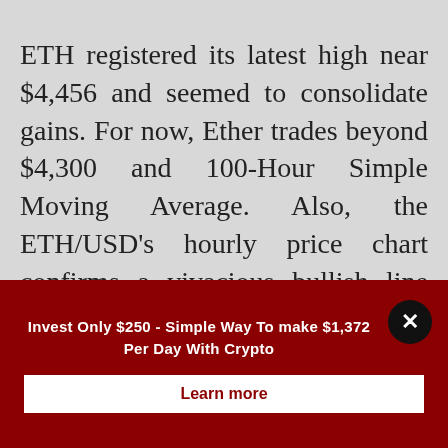ETH registered its latest high near $4,456 and seemed to consolidate gains. For now, Ether trades beyond $4,300 and 100-Hour Simple Moving Average. Also, the ETH/USD's hourly price chart confirms a vivacious bullish line evolving with a support level near $4,300.

The alternative coin maintains its price well beyond the 23.6% Fibonacci
Invest Only $250 - Simple Way To make $1,372 Per Day With Crypto
Learn more